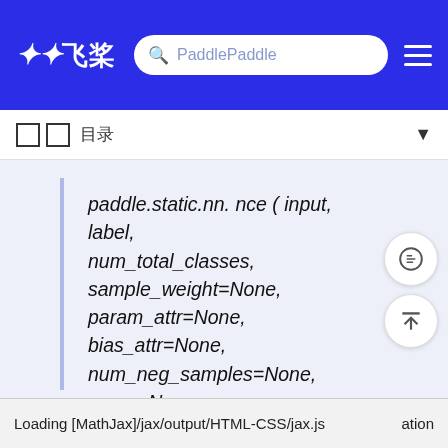飞桨 PaddlePaddle
目录
paddle.static.nn. nce ( input, label, num_total_classes, sample_weight=None, param_attr=None, bias_attr=None, num_neg_samples=None, name=None, sampler='uniform', custom_dist=None, seed=0, is_sparse=False ) [源代码]
Loading [MathJax]/jax/output/HTML-CSS/jax.js